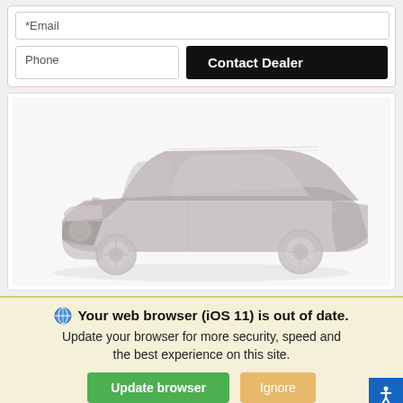*Email
Phone
Contact Dealer
[Figure (photo): Washed-out/faded photo of a dark Nissan SUV (Rogue or X-Trail) shown from a front 3/4 angle on a white background. The image appears very light/faded with low contrast.]
Your web browser (iOS 11) is out of date. Update your browser for more security, speed and the best experience on this site.
Update browser
Ignore